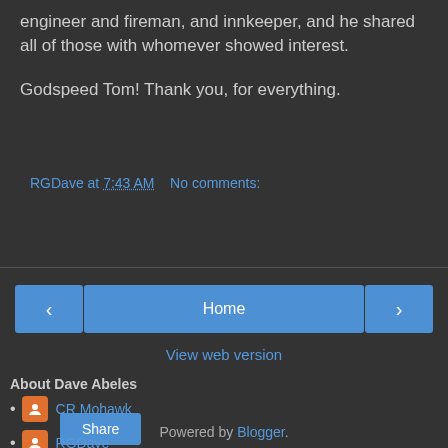engineer and fireman, and innkeeper, and he shared all of those with whomever showed interest.
Godspeed Tom!  Thank you, for everything.
RGDave at 7:43 AM    No comments:
Share
< Home >
View web version
About Dave Abeles
CR Mohawk
RGDave
Powered by Blogger.